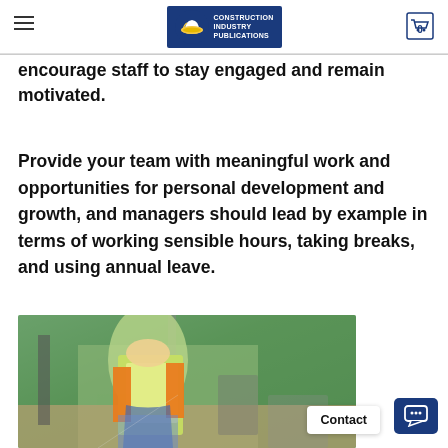Construction Industry Publications
encourage staff to stay engaged and remain motivated.
Provide your team with meaningful work and opportunities for personal development and growth, and managers should lead by example in terms of working sensible hours, taking breaks, and using annual leave.
[Figure (photo): Construction worker in a green shirt and orange high-visibility vest writing on paper at a work site]